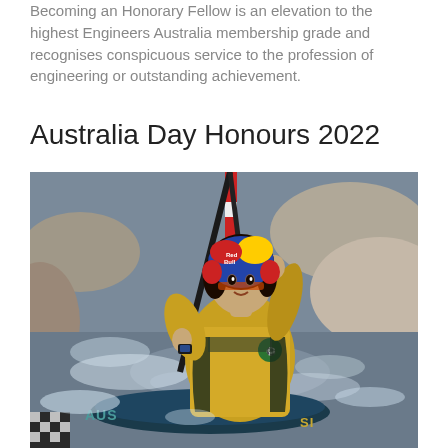Becoming an Honorary Fellow is an elevation to the highest Engineers Australia membership grade and recognises conspicuous service to the profession of engineering or outstanding achievement.
Australia Day Honours 2022
[Figure (photo): Female kayaker in Australian team uniform (yellow jersey) wearing a Red Bull branded helmet with blue and yellow design, paddling through whitewater rapids. She is holding a paddle with a red and white pole/gate visible. The background shows rocky terrain and splashing water.]